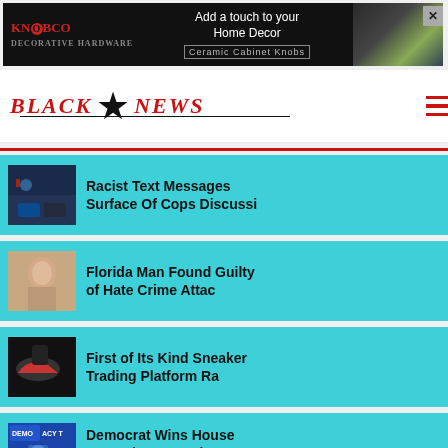[Figure (screenshot): Advertisement banner for KNOBCO decorative hardware with text 'Add a touch to your Home Decor' and 'Ceramic Cabinet Knobs']
[Figure (logo): Black Star News site logo with 'BLACK' and 'NEWS' in red gothic font flanking a black star, with hamburger menu icon]
Racist Text Messages Surface Of Cops Discussi
Florida Man Found Guilty of Hate Crime Attac
First of Its Kind Sneaker Trading Platform Ra
Democrat Wins House Race That Turned On Abort